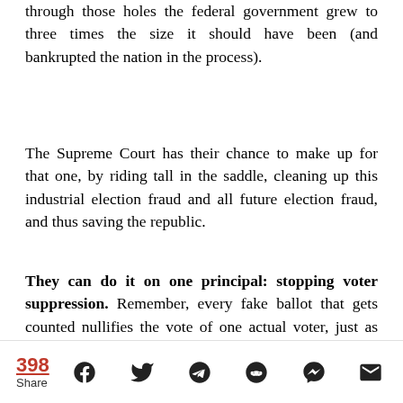through those holes the federal government grew to three times the size it should have been (and bankrupted the nation in the process).
The Supreme Court has their chance to make up for that one, by riding tall in the saddle, cleaning up this industrial election fraud and all future election fraud, and thus saving the republic.
They can do it on one principal: stopping voter suppression. Remember, every fake ballot that gets counted nullifies the vote of one actual voter, just as surely as a poll tax (or other forms of voter suppression) would. If the Supreme Court has courage, they will recognize that the moves Democrats made in 2020 to loosen everything that brings integrity to
398 Share